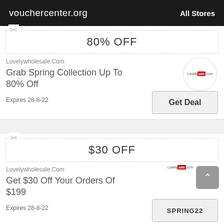vouchercenter.org   All Stores
80% OFF
Lovelywholesale.Com
Grab Spring Collection Up To 80% Off
Expires 28-8-22
Get Deal
$30 OFF
Lovelywholesale.Com
Get $30 Off Your Orders Of $199
Expires 28-8-22
SPRING22